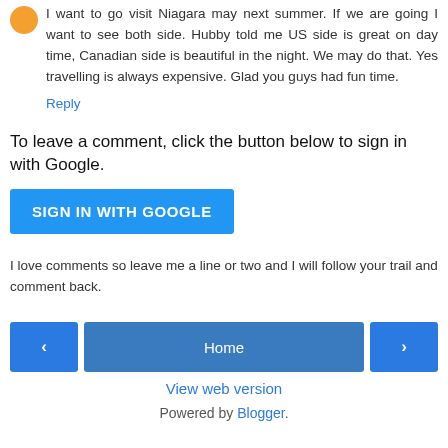I want to go visit Niagara may next summer. If we are going I want to see both side. Hubby told me US side is great on day time, Canadian side is beautiful in the night. We may do that. Yes travelling is always expensive. Glad you guys had fun time.
Reply
To leave a comment, click the button below to sign in with Google.
SIGN IN WITH GOOGLE
I love comments so leave me a line or two and I will follow your trail and comment back.
Home
View web version
Powered by Blogger.